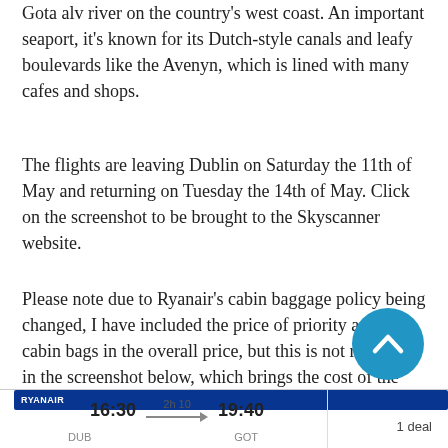Gota alv river on the country's west coast. An important seaport, it's known for its Dutch-style canals and leafy boulevards like the Avenyn, which is lined with many cafes and shops.
The flights are leaving Dublin on Saturday the 11th of May and returning on Tuesday the 14th of May. Click on the screenshot to be brought to the Skyscanner website.
Please note due to Ryanair's cabin baggage policy being changed, I have included the price of priority and 2 cabin bags in the overall price, but this is not reflected in the screenshot below, which brings the cost of the flights to €65.
[Figure (screenshot): Ryanair flight search result showing 16:30 DUB to 19:40 GOT, 2h 10m duration, 1 deal]